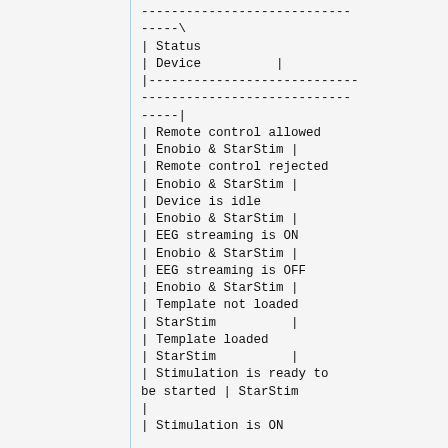| Status | Device |
| --- | --- |
| Remote control allowed | Enobio & StarStim |
| Remote control rejected | Enobio & StarStim |
| Device is idle | Enobio & StarStim |
| EEG streaming is ON | Enobio & StarStim |
| EEG streaming is OFF | Enobio & StarStim |
| Template not loaded | StarStim |
| Template loaded | StarStim |
| Stimulation is ready to be started | StarStim |
| Stimulation is ON |  |